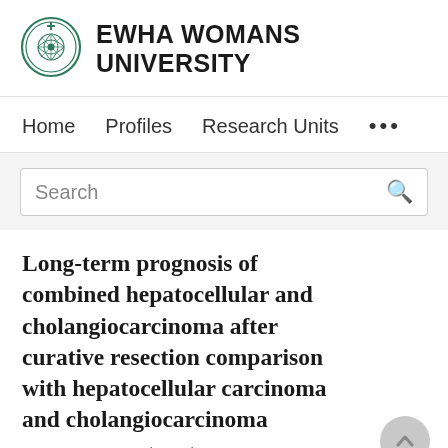[Figure (logo): Ewha Womans University circular logo with decorative emblem in green]
EWHA WOMANS UNIVERSITY
Home   Profiles   Research Units   ...
Search
Long-term prognosis of combined hepatocellular and cholangiocarcinoma after curative resection comparison with hepatocellular carcinoma and cholangiocarcinoma
Jong Han Jung, Sol Ee Chong, So Jun Yu So...